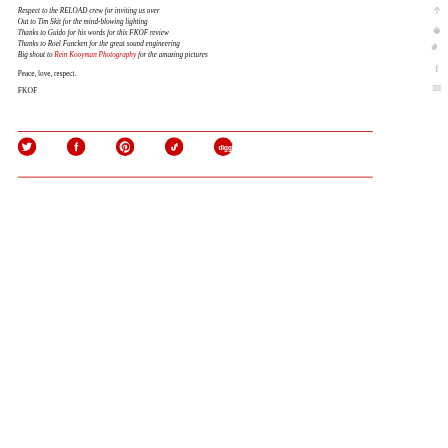Respect to the RELOAD crew for inviting us over
Out to Tim Skit for the mind-blowing lighting
Thanks to Guido for his words for this FKOF review
Thanks to Roel Funcken for the great sound engineering
Big shout to Rein Kooyman Photography for the amazing pictures
Peace, love, respect.
FKOF
[Figure (infographic): Social sharing icons row: Twitter, Facebook, Pinterest, StumbleUpon, Digg — all in red circles. Right sidebar with grey icons: up arrow, flame, Twitter bird, Facebook f, hamburger menu.]